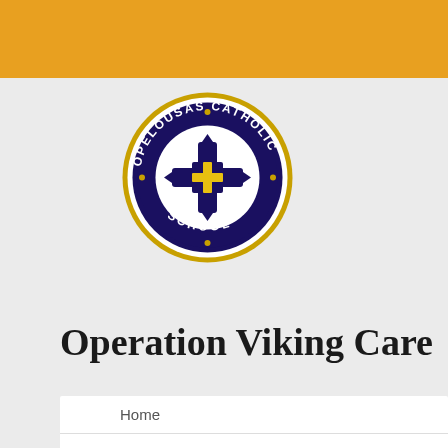[Figure (logo): Opelousas Catholic School circular logo with dark navy blue and gold colors, featuring a cross emblem in the center, with text reading OPELOUSAS CATHOLIC SCHOOL around the border]
Operation Viking Care
Home
OCS News